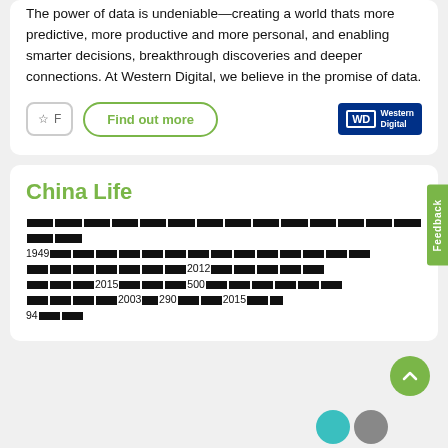The power of data is undeniable—creating a world thats more predictive, more productive and more personal, and enabling smarter decisions, breakthrough discoveries and deeper connections. At Western Digital, we believe in the promise of data.
[Figure (logo): Western Digital logo with WD box and Western Digital text]
China Life
[Redacted Chinese text content with years 1949, 2012, 2015, 500, 2003, 290, 2015, 94 visible]